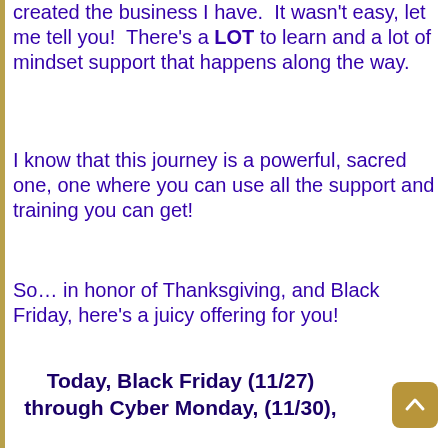created the business I have.  It wasn't easy, let me tell you!  There's a LOT to learn and a lot of mindset support that happens along the way.
I know that this journey is a powerful, sacred one, one where you can use all the support and training you can get!
So… in honor of Thanksgiving, and Black Friday, here's a juicy offering for you!
Today, Black Friday (11/27) through Cyber Monday, (11/30),

you get 50% off EVERYTHING in my Divine Store!